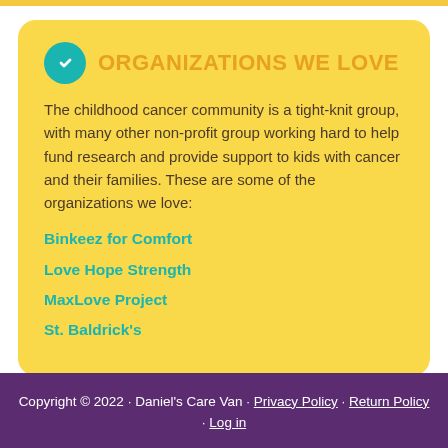ORGANIZATIONS WE LOVE
The childhood cancer community is a tight-knit group, with many other non-profit group working hard to help fund research and provide support to kids with cancer and their families. These are some of the organizations we love:
Binkeez for Comfort
Love Hope Strength
MaxLove Project
St. Baldrick's
Copyright © 2022 · Daniel's Care Van · Privacy Policy · Return Policy · Log in